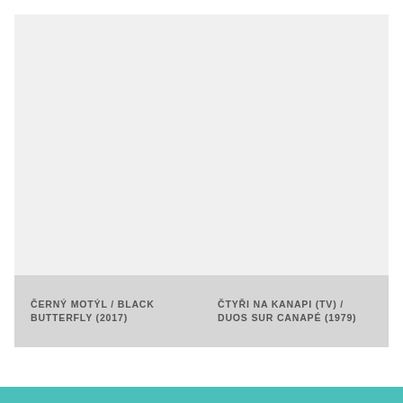[Figure (photo): Blank light gray image placeholder area]
ČERNÝ MOTÝL / BLACK BUTTERFLY (2017)	ČTYŘI NA KANAPI (TV) / DUOS SUR CANAPÉ (1979)